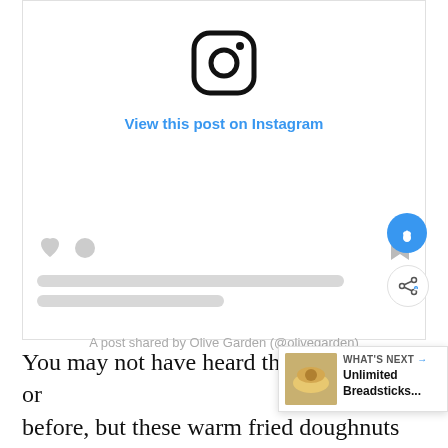[Figure (screenshot): Instagram embed widget showing the Instagram logo, 'View this post on Instagram' link in blue, gray placeholder action icons (heart, comment, bookmark), two gray skeleton loading lines, and attribution text 'A post shared by Olive Garden (@olivegarden)'. Blue heart and share buttons appear on the right side.]
You may not have heard the term zeppeli or before, but these warm fried doughnuts are heaven-sent goodness
[Figure (infographic): WHAT'S NEXT promotional bubble showing a food image thumbnail and text 'Unlimited Breadsticks...']